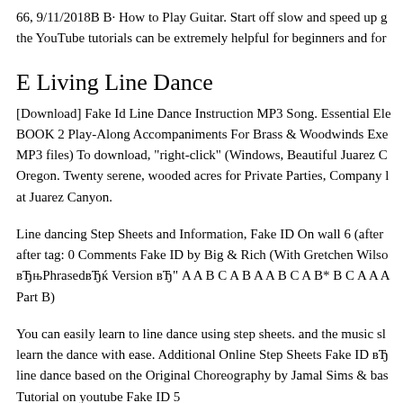66, 9/11/2018В В· How to Play Guitar. Start off slow and speed up g the YouTube tutorials can be extremely helpful for beginners and for
E Living Line Dance
[Download] Fake Id Line Dance Instruction MP3 Song. Essential Ele BOOK 2 Play-Along Accompaniments For Brass & Woodwinds Exe MP3 files) To download, "right-click" (Windows, Beautiful Juarez C Oregon. Twenty serene, wooded acres for Private Parties, Company l at Juarez Canyon.
Line dancing Step Sheets and Information, Fake ID On wall 6 (after after tag: 0 Comments Fake ID by Big & Rich (With Gretchen Wilso вЂњPhrasedвЂќ Version вЂ" A A B C A B A A B C A B* B C A A A Part B)
You can easily learn to line dance using step sheets. and the music sl learn the dance with ease. Additional Online Step Sheets Fake ID вЂ line dance based on the Original Choreography by Jamal Sims & bas Tutorial on youtube Fake ID 5